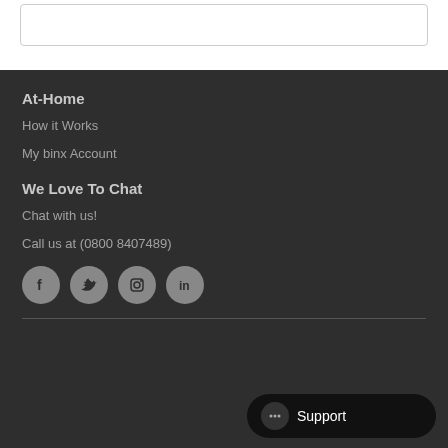At-Home
How it Works
My binx Account
We Love To Chat
Chat with us!
Call us at (0800 8407489)
[Figure (other): Social media icons: Facebook, Twitter, Instagram, LinkedIn]
Support